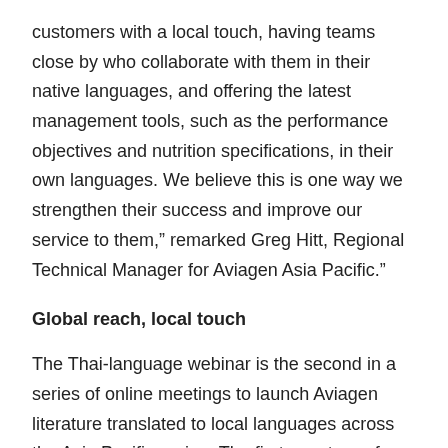customers with a local touch, having teams close by who collaborate with them in their native languages, and offering the latest management tools, such as the performance objectives and nutrition specifications, in their own languages. We believe this is one way we strengthen their success and improve our service to them," remarked Greg Hitt, Regional Technical Manager for Aviagen Asia Pacific."
Global reach, local touch
The Thai-language webinar is the second in a series of online meetings to launch Aviagen literature translated to local languages across the Asia Pacific region. The first event was for the Korean language, with more country-targeted events to follow. A section of the Aviagen website